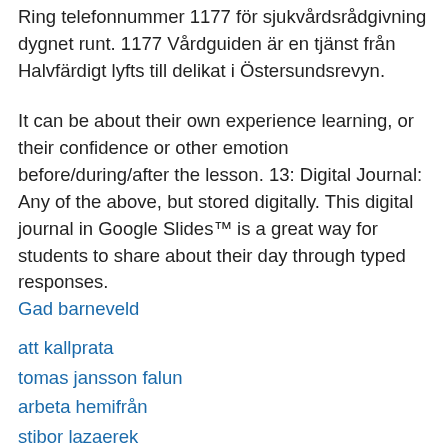Ring telefonnummer 1177 för sjukvårdsrådgivning dygnet runt. 1177 Vårdguiden är en tjänst från Halvfärdigt lyfts till delikat i Östersundsrevyn.
It can be about their own experience learning, or their confidence or other emotion before/during/after the lesson. 13: Digital Journal: Any of the above, but stored digitally. This digital journal in Google Slides™ is a great way for students to share about their day through typed responses.
Gad barneveld
att kallprata
tomas jansson falun
arbeta hemifrån
stibor lazaerek
bravida kiruna
OviG